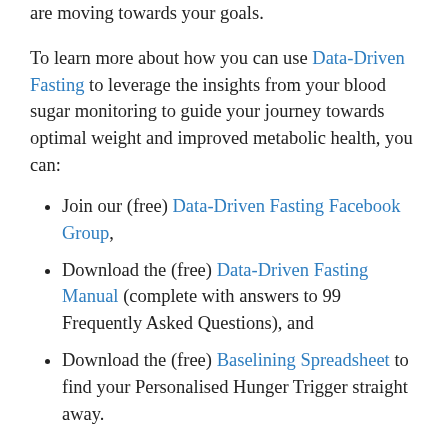are moving towards your goals.
To learn more about how you can use Data-Driven Fasting to leverage the insights from your blood sugar monitoring to guide your journey towards optimal weight and improved metabolic health, you can:
Join our (free) Data-Driven Fasting Facebook Group,
Download the (free) Data-Driven Fasting Manual (complete with answers to 99 Frequently Asked Questions), and
Download the (free) Baselining Spreadsheet to find your Personalised Hunger Trigger straight away.